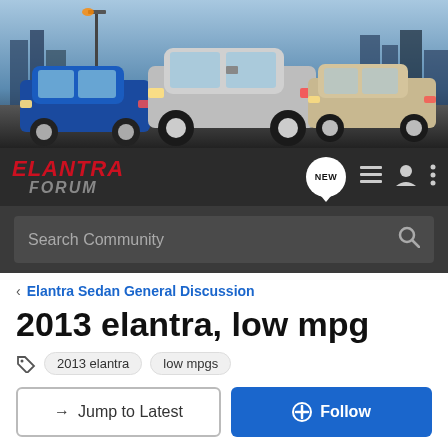[Figure (photo): Hero banner showing three Hyundai Elantra cars (blue, silver, beige) on a city backdrop]
ELANTRA FORUM navigation bar with logo, NEW chat bubble, list icon, user icon, and menu icon
Search Community
< Elantra Sedan General Discussion
2013 elantra, low mpg
2013 elantra
low mpgs
→ Jump to Latest
+ Follow
1 - 12 of 12 Posts
kevin13 · Registered 🇺🇸